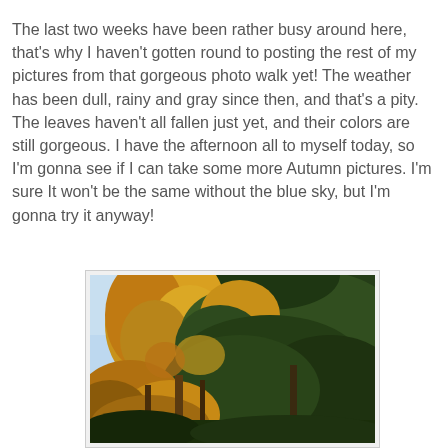The last two weeks have been rather busy around here, that's why I haven't gotten round to posting the rest of my pictures from that gorgeous photo walk yet! The weather has been dull, rainy and gray since then, and that's a pity. The leaves haven't all fallen just yet, and their colors are still gorgeous. I have the afternoon all to myself today, so I'm gonna see if I can take some more Autumn pictures. I'm sure It won't be the same without the blue sky, but I'm gonna try it anyway!
[Figure (photo): Autumn trees with yellow-orange leaves and dark green foliage against a light blue sky, viewed from below looking up through the canopy]